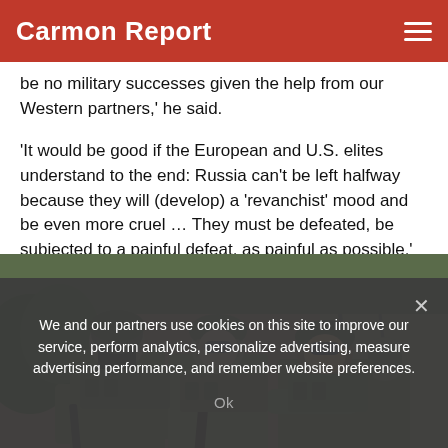Carmon Report
be no military successes given the help from our Western partners,' he said.
'It would be good if the European and U.S. elites understand to the end: Russia can't be left halfway because they will (develop) a 'revanchist' mood and be even more cruel … They must be defeated, be subjected to a painful defeat, as painful as possible.'
[Figure (photo): Three soldiers in camouflage gear and tactical equipment standing in front of a building, with more soldiers visible behind them.]
We and our partners use cookies on this site to improve our service, perform analytics, personalize advertising, measure advertising performance, and remember website preferences.